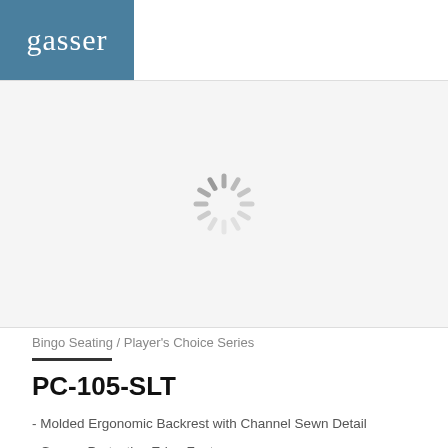[Figure (logo): Gasser company logo — white serif text 'gasser' on a steel-blue background rectangle]
[Figure (other): Loading spinner graphic — gray radial lines arranged in a circle, indicating an image is loading]
Bingo Seating / Player's Choice Series
PC-105-SLT
- Molded Ergonomic Backrest with Channel Sewn Detail
- Gasser Protective Edge Feature
- Gasser's Signature Flex Back Technology